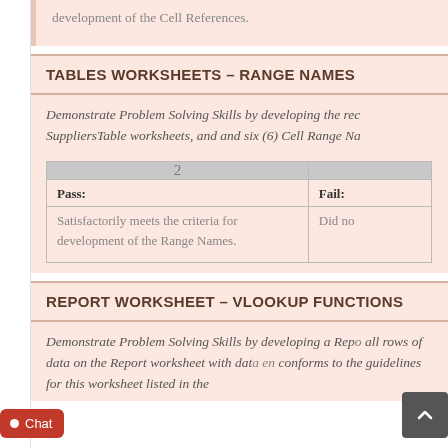development of the Cell References.
TABLES WORKSHEETS – RANGE NAMES
Demonstrate Problem Solving Skills by developing the rec SuppliersTable worksheets, and and six (6) Cell Range Na
| 2 |  |
| --- | --- |
| Pass: | Fail: |
| Satisfactorily meets the criteria for development of the Range Names. | Did no |
REPORT WORKSHEET – VLOOKUP FUNCTIONS
Demonstrate Problem Solving Skills by developing a Repo all rows of data on the Report worksheet with data en conforms to the guidelines for this worksheet listed in the